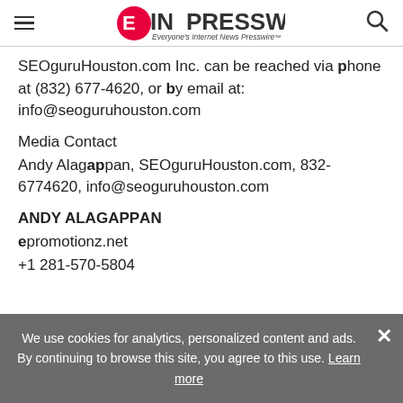EIN PRESSWIRE - Everyone's Internet News Presswire
SEOguruHouston.com Inc. can be reached via phone at (832) 677-4620, or by email at: info@seoguruhouston.com
Media Contact
Andy Alagappan, SEOguruHouston.com, 832-6774620, info@seoguruhouston.com
ANDY ALAGAPPAN
epromotionz.net
+1 281-570-5804
We use cookies for analytics, personalized content and ads. By continuing to browse this site, you agree to this use. Learn more